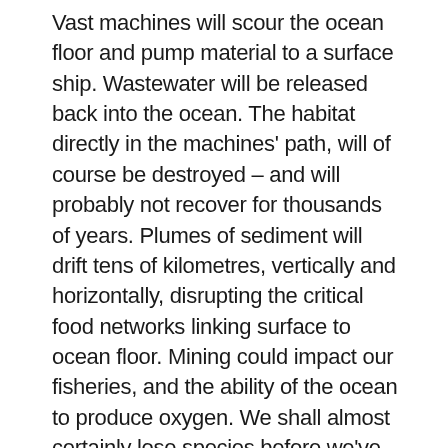Vast machines will scour the ocean floor and pump material to a surface ship. Wastewater will be released back into the ocean. The habitat directly in the machines' path, will of course be destroyed – and will probably not recover for thousands of years. Plumes of sediment will drift tens of kilometres, vertically and horizontally, disrupting the critical food networks linking surface to ocean floor. Mining could impact our fisheries, and the ability of the ocean to produce oxygen. We shall almost certainly lose species before we've even discovered them.
The vast majority of the open ocean is international waters. The resources in those waters are designated 'common heritage of mankind': they belong to all of us, and to our descendants. So an intergovernmental body, the International Seabed Authority, related to the United Nations, has been established to regulate mining in these